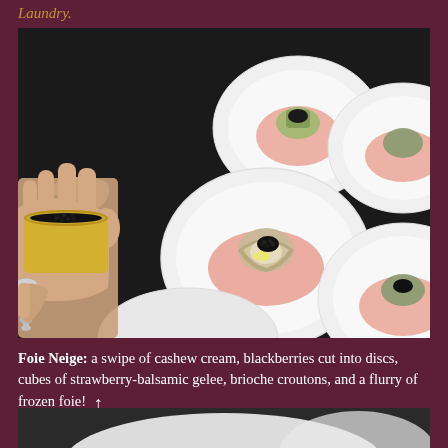Laundry.
[Figure (photo): A chef's hands holding an open tin of black caviar with a small spoon, next to several white plates each containing an oyster topped with caviar on a bed of pink rock salt, arranged on a dark surface.]
Foie Neige: a swipe of cashew cream, blackberries cut into discs, cubes of strawberry-balsamic gelee, brioche croutons, and a flurry of frozen foie!
[Figure (photo): Bottom portion of a food photo, partially visible, showing what appears to be a white bowl or plate on a dark background.]